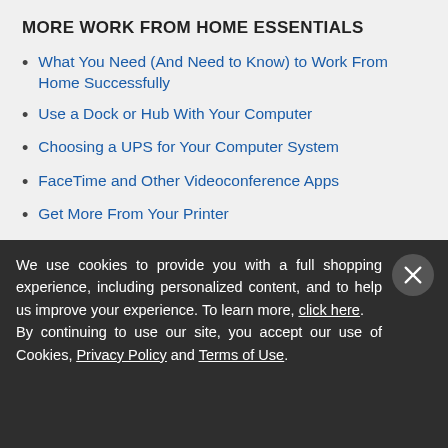MORE WORK FROM HOME ESSENTIALS
What You Need (And Need to Know) to Work From Home Successfully
Use a Dock or Hub With Your Computer
Choosing a UPS for Your Computer System
FaceTime and Other Videoconference Apps
Get More From Your Printer
Helpful Apps and Utilities
Photoshop Alternative – Affinity Photo
InDesign Alternative – Affinity Publisher
We use cookies to provide you with a full shopping experience, including personalized content, and to help us improve your experience. To learn more, click here. By continuing to use our site, you accept our use of Cookies, Privacy Policy and Terms of Use.